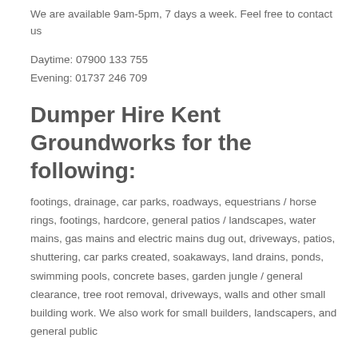We are available 9am-5pm, 7 days a week. Feel free to contact us
Daytime: 07900 133 755
Evening: 01737 246 709
Dumper Hire Kent Groundworks for the following:
footings, drainage, car parks, roadways, equestrians / horse rings, footings, hardcore, general patios / landscapes, water mains, gas mains and electric mains dug out, driveways, patios, shuttering, car parks created, soakaways, land drains, ponds, swimming pools, concrete bases, garden jungle / general clearance, tree root removal, driveways, walls and other small building work. We also work for small builders, landscapers, and general public